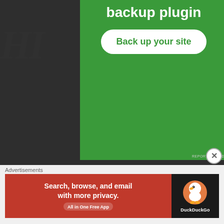[Figure (screenshot): Green advertisement banner for a backup plugin, showing text 'backup plugin' and a white button labeled 'Back up your site']
rambulations through classi  ball a
RECENT POSTS
In Memoriam: Al Jackson
Pastime Portraiture: Freddie Lindstrom
Bronx cheers for Robin Roberts
[Figure (screenshot): DuckDuckGo advertisement banner: orange section with text 'Search, browse, and email with more privacy. All in One Free App' and black section with DuckDuckGo logo]